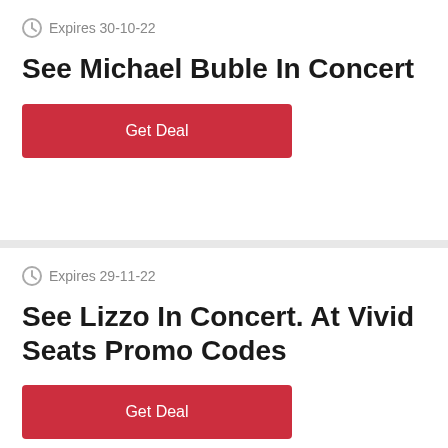Expires 30-10-22
See Michael Buble In Concert
Get Deal
Expires 29-11-22
See Lizzo In Concert. At Vivid Seats Promo Codes
Get Deal